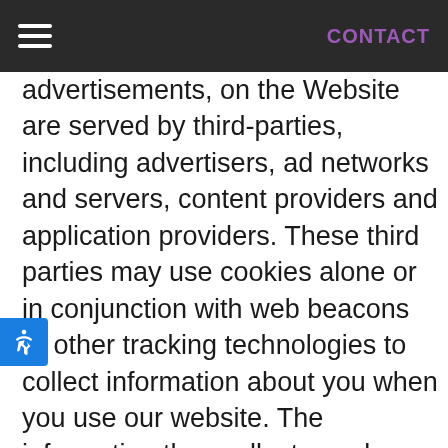CONTACT
advertisements, on the Website are served by third-parties, including advertisers, ad networks and servers, content providers and application providers. These third parties may use cookies alone or in conjunction with web beacons or other tracking technologies to collect information about you when you use our website. The information they collect may be associated with your personal information or they may collect information, including personal information, about your online activities over time and across different websites and other online services. They may use this information to provide you with interest-based